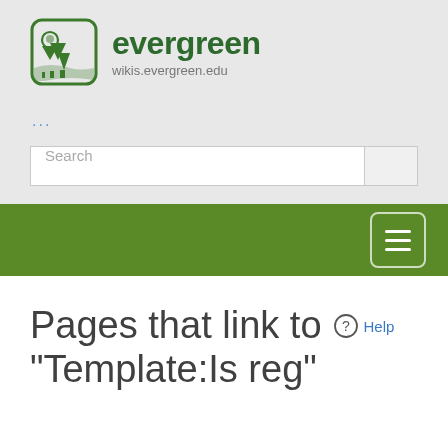[Figure (logo): Evergreen State College logo with tree/mountain icon and text 'evergreen' and 'wikis.evergreen.edu']
...
Search
[Figure (other): Green navigation bar with hamburger menu icon (three horizontal lines in rounded square)]
Pages that link to "Template:Is reg"